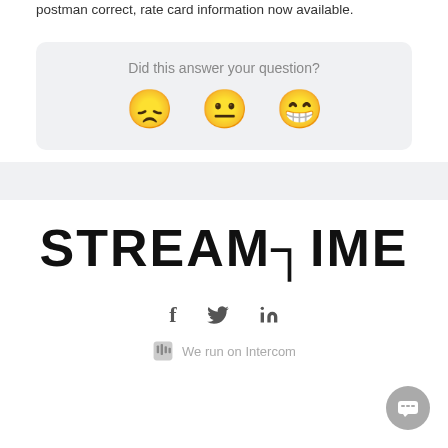postman correct, rate card information now available.
[Figure (infographic): Feedback widget with question 'Did this answer your question?' and three emoji faces: disappointed, neutral, and happy]
[Figure (logo): STREAMTIME logo in bold black text]
[Figure (infographic): Social media icons: Facebook (f), Twitter (bird), LinkedIn (in)]
We run on Intercom